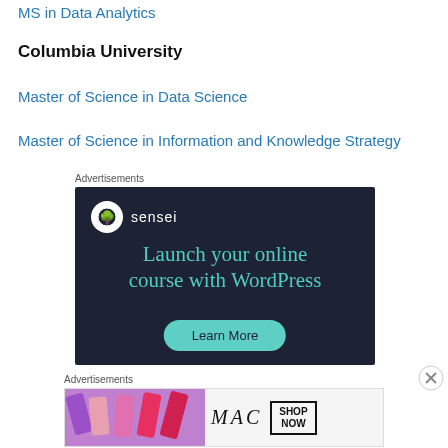MS in Data Analytics
Columbia University
Master of Science in Data Science
Master of Science in Information and Knowledge Strategy
Advertisements
[Figure (other): Sensei advertisement: Launch your online course with WordPress. Learn More button.]
Advertisements
[Figure (other): MAC cosmetics advertisement showing lipsticks with MAC logo and SHOP NOW button.]